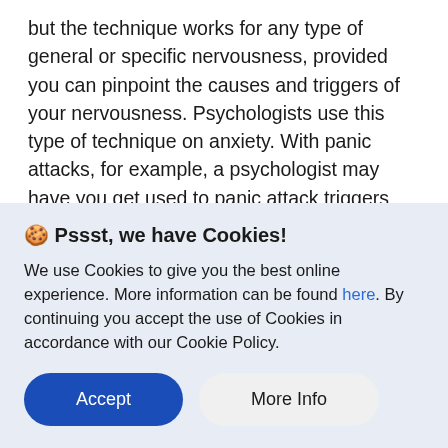but the technique works for any type of general or specific nervousness, provided you can pinpoint the causes and triggers of your nervousness. Psychologists use this type of technique on anxiety. With panic attacks, for example, a psychologist may have you get used to panic attack triggers one by one so that they aren't able to cause another panic attack to occur. It's a very similar process.
🍪 Pssst, we have Cookies!
We use Cookies to give you the best online experience. More information can be found here. By continuing you accept the use of Cookies in accordance with our Cookie Policy.